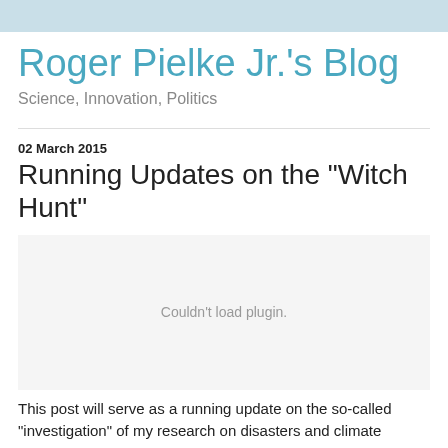Roger Pielke Jr.'s Blog
Science, Innovation, Politics
02 March 2015
Running Updates on the "Witch Hunt"
[Figure (other): Plugin area showing 'Couldn't load plugin.' message]
This post will serve as a running update on the so-called "investigation" of my research on disasters and climate